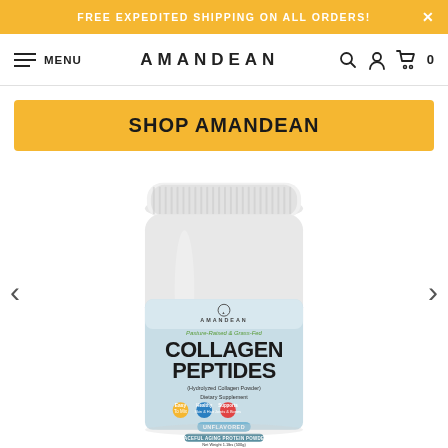FREE EXPEDITED SHIPPING ON ALL ORDERS!
MENU  AMANDEAN  [search][account][cart] 0
[Figure (illustration): SHOP AMANDEAN button (gold/yellow banner) above a product image of Amandean Collagen Peptides supplement jar with light blue label reading: 'AMANDEAN, Pasture-Raised & Grass-Fed, COLLAGEN PEPTIDES, (Hydrolyzed Collagen Powder) Dietary Supplement, Easy To Mix, Healthy Skin & Hair, Supports Joints & Bones, UNFLAVORED, GRACEFUL AGING PROTEIN POWDER, Net Weight 1.1lbs (500g)'. Left and right navigation arrows flank the product image.]